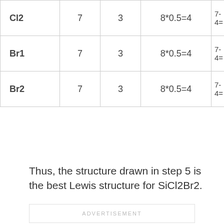|  |  |  |  |  |
| --- | --- | --- | --- | --- |
| Cl2 | 7 | 3 | 8*0.5=4 | 7-
4= |
| Br1 | 7 | 3 | 8*0.5=4 | 7-
4= |
| Br2 | 7 | 3 | 8*0.5=4 | 7-
4= |
Thus, the structure drawn in step 5 is the best Lewis structure for SiCl2Br2.